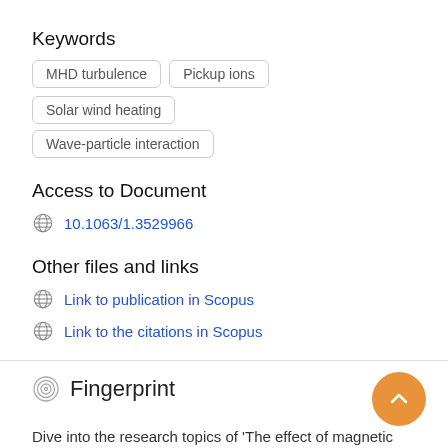Keywords
MHD turbulence
Pickup ions
Solar wind heating
Wave-particle interaction
Access to Document
10.1063/1.3529966
Other files and links
Link to publication in Scopus
Link to the citations in Scopus
Fingerprint
Dive into the research topics of 'The effect of magnetic